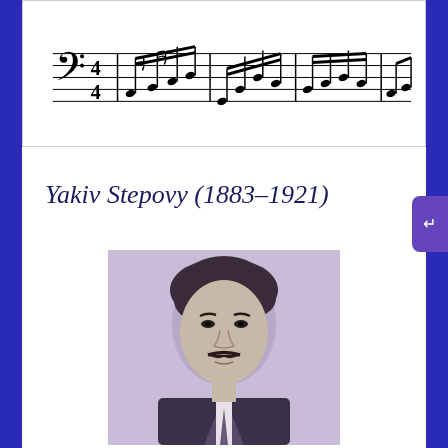[Figure (other): Sheet music notation showing a bass clef musical score with multiple notes and rhythmic patterns]
Yakiv Stepovy (1883–1921)
[Figure (photo): Black and white portrait photograph of Yakiv Stepovy, a man with dark wavy hair and a mustache wearing a suit and tie, early 20th century style]